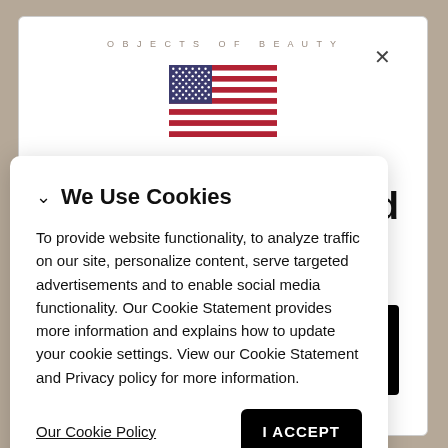OBJECTS OF BEAUTY
[Figure (illustration): US flag SVG illustration shown in background modal]
United
es
We Use Cookies
To provide website functionality, to analyze traffic on our site, personalize content, serve targeted advertisements and to enable social media functionality. Our Cookie Statement provides more information and explains how to update your cookie settings. View our Cookie Statement and Privacy policy for more information.
Our Cookie Policy
I ACCEPT